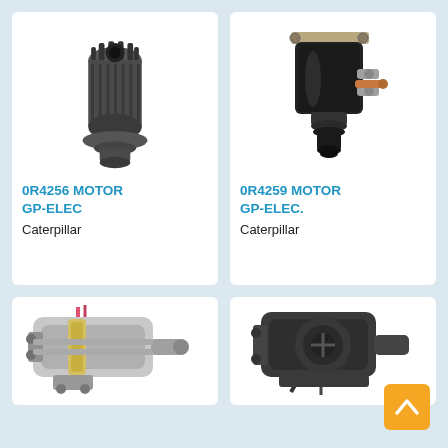[Figure (photo): 0R4256 MOTOR GP-ELEC - Caterpillar starter drive gear/pinion component, cylindrical black metal part]
0R4256 MOTOR GP-ELEC
Caterpillar
[Figure (photo): 0R4259 MOTOR GP-ELEC. - Caterpillar solenoid switch component, black cylindrical body with terminal posts]
0R4259 MOTOR GP-ELEC.
Caterpillar
[Figure (photo): Caterpillar electric starter motor - bottom left, partially visible]
[Figure (photo): Caterpillar electric starter motor - bottom right, partially visible]